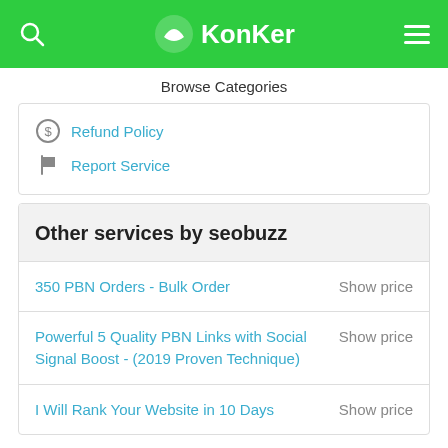KonKer
Browse Categories
Refund Policy
Report Service
Other services by seobuzz
350 PBN Orders - Bulk Order — Show price
Powerful 5 Quality PBN Links with Social Signal Boost - (2019 Proven Technique) — Show price
I Will Rank Your Website in 10 Days — Show price